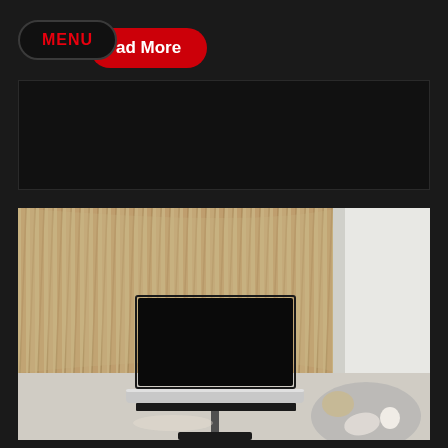[Figure (screenshot): Website navigation bar with black pill-shaped MENU button with red text, and a red rounded 'Read More' button partially visible. Dark background panel below.]
[Figure (photo): A modern living room interior featuring a flat-screen TV mounted on a stand with a silver soundbar in front, set against a curved wooden slat accent wall. A round grey rug, decorative objects, and white walls are visible. The floor is light grey concrete.]